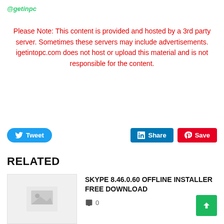@getinpc
Please Note: This content is provided and hosted by a 3rd party server. Sometimes these servers may include advertisements. igetintopc.com does not host or upload this material and is not responsible for the content.
[Figure (infographic): Social sharing buttons: Tweet (Twitter), Share (LinkedIn), Save (Pinterest)]
RELATED
[Figure (photo): Placeholder image thumbnail for Skype 8.46.0.60 article]
SKYPE 8.46.0.60 OFFLINE INSTALLER FREE DOWNLOAD
0
[Figure (infographic): Back to top green button with upward arrow]